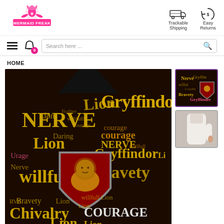[Figure (logo): Mermaid Freak logo with pink mermaid figure and pink text]
[Figure (infographic): Trackable Shipping icon (truck) with label]
[Figure (infographic): Easy Returns icon (circular arrows with dollar sign) with label]
[Figure (photo): Navigation bar with hamburger menu, cart icon with 0 badge, and search bar]
HOME
[Figure (photo): Main product image: Gryffindor hooded blanket with lion crest and text words Lion, NERVE, Gryffindor, courage, Daring, willfull, Bravety, Chivalry, COURAGE printed on black background]
[Figure (photo): Thumbnail 1: Gryffindor hooded blanket front view with crest]
[Figure (photo): Thumbnail 2: White hooded blanket back/side view on person]